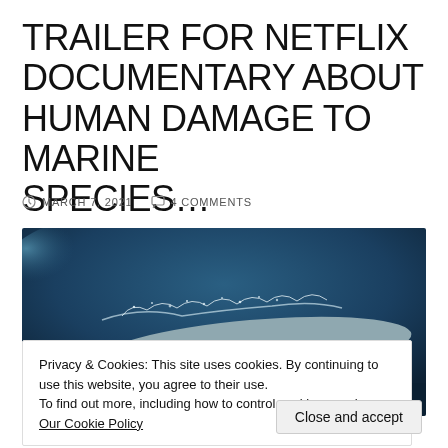TRAILER FOR NETFLIX DOCUMENTARY ABOUT HUMAN DAMAGE TO MARINE SPECIES…
MARCH 7, 2021   4 COMMENTS
[Figure (photo): Close-up photograph of a dolphin near the water surface, viewed from above, with water droplets and ocean background in dark blue tones]
Privacy & Cookies: This site uses cookies. By continuing to use this website, you agree to their use.
To find out more, including how to control cookies, see here: Our Cookie Policy
Close and accept